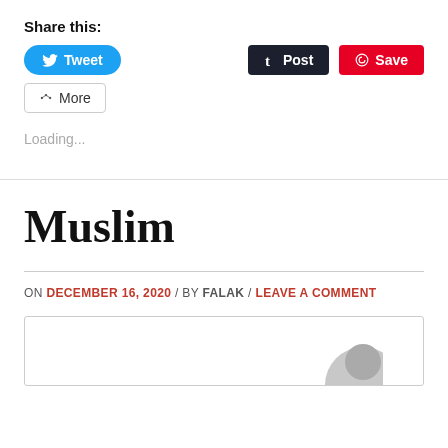Share this:
[Figure (screenshot): Social sharing buttons: Tweet (blue), Post (dark), Save (red), More (outlined)]
Loading...
Muslim
ON DECEMBER 16, 2020 / BY FALAK / LEAVE A COMMENT
[Figure (photo): Partial image visible at bottom of page]